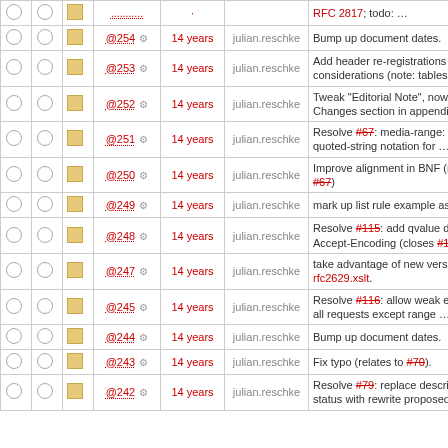|  |  |  | Rev | Age | Author | Message |
| --- | --- | --- | --- | --- | --- | --- |
|  |  |  | top/partial | ... | ... | RFC 2817; todo: … |
|  |  |  | @254 | 14 years | julian.reschke | Bump up document dates. |
|  |  |  | @253 | 14 years | julian.reschke | Add header re-registrations to IANA considerations (note: tables are … |
|  |  |  | @252 | 14 years | julian.reschke | Tweak "Editorial Note", now pointing to Changes section in appendix. |
|  |  |  | @251 | 14 years | julian.reschke | Resolve #67: media-range: token and quoted-string notation for … |
|  |  |  | @250 | 14 years | julian.reschke | Improve alignment in BNF (related to #67) |
|  |  |  | @249 | 14 years | julian.reschke | mark up list rule example as figure |
|  |  |  | @248 | 14 years | julian.reschke | Resolve #115: add qvalue defaulting for Accept-Encoding (closes #115). |
|  |  |  | @247 | 14 years | julian.reschke | take advantage of new version of rfc2629.xslt. |
|  |  |  | @245 | 14 years | julian.reschke | Resolve #116: allow weak entity tags in all requests except range … |
|  |  |  | @244 | 14 years | julian.reschke | Bump up document dates. |
|  |  |  | @243 | 14 years | julian.reschke | Fix typo (relates to #70). |
|  |  |  | @242 | 14 years | julian.reschke | Resolve #79: replace description of 303 status with rewrite proposed … |